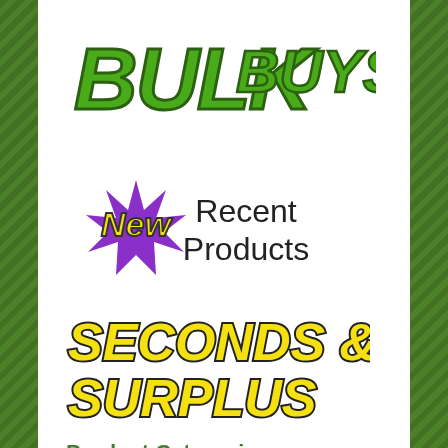[Figure (logo): Bulk Buys logo — stylized green cartoon lettering with 'BULK' large and 'BUYS' smaller, in green with dark outline]
[Figure (logo): New Recent Products banner — yellow 'New' text on purple starburst, alongside black 'Recent Products' text]
[Figure (logo): Seconds & Surplus logo — bold yellow text with dark outline reading 'SECONDS & SURPLUS']
Product Categories
Garden Supplies
Garden Types
Balcony
Coastal